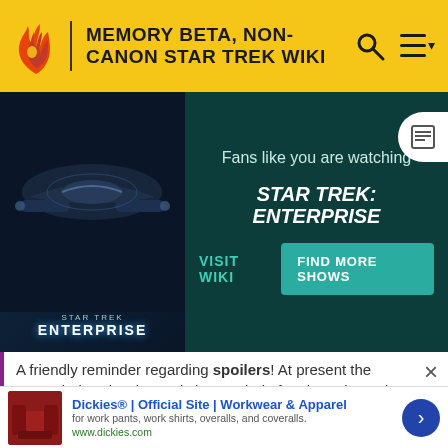MEMORY BETA, NON-CANON STAR TREK WIKI
[Figure (screenshot): Fandom promotional card showing Star Trek: Enterprise with show poster, text 'Fans like you are watching STAR TREK: ENTERPRISE', and buttons 'VISIT WIKI' and 'FIND MORE SHOWS']
[Figure (photo): Background screenshot of a Star Trek starship bridge or exterior scene in dark blue/black tones]
A friendly reminder regarding spoilers! At present the expanded Trek universe is in a period of major upheaval with
READ MORE
christened Starbase Deep Space 9. Later that year on
[Figure (infographic): Advertisement for Dickies Official Site - Workwear & Apparel. Shows leather chair image, text 'Dickies® | Official Site | Workwear & Apparel', subtitle 'for work pants, work shirts, overalls, and coveralls.', URL 'www.dickies.com', and a blue arrow button]